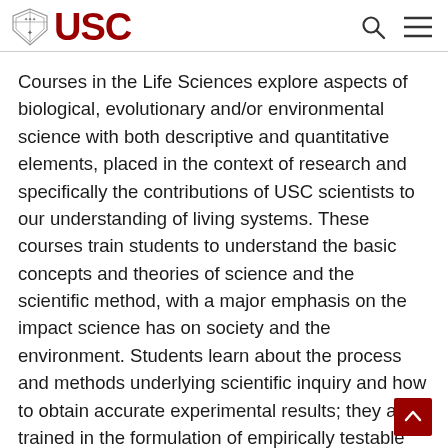USC
Courses in the Life Sciences explore aspects of biological, evolutionary and/or environmental science with both descriptive and quantitative elements, placed in the context of research and specifically the contributions of USC scientists to our understanding of living systems. These courses train students to understand the basic concepts and theories of science and the scientific method, with a major emphasis on the impact science has on society and the environment. Students learn about the process and methods underlying scientific inquiry and how to obtain accurate experimental results; they are trained in the formulation of empirically testable hypotheses and develop an understanding of the distinction between unsupported assertions and conclusions based on sound scientific reasoning. Students are given a statistical vocabulary to